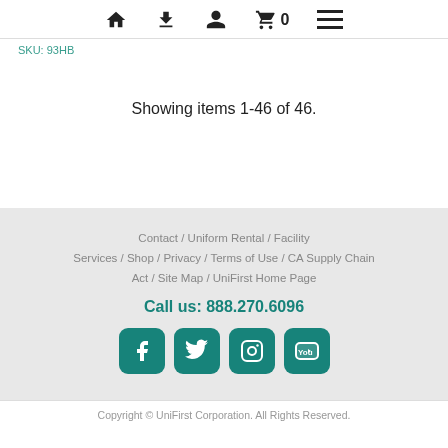Navigation bar with home, download, user, cart (0), and menu icons
SKU: 93HB
Showing items 1-46 of 46.
Contact / Uniform Rental / Facility Services / Shop / Privacy / Terms of Use / CA Supply Chain Act / Site Map / UniFirst Home Page
Call us: 888.270.6096
[Figure (other): Social media icon buttons for Facebook, Twitter, Instagram, YouTube]
Copyright © UniFirst Corporation. All Rights Reserved.